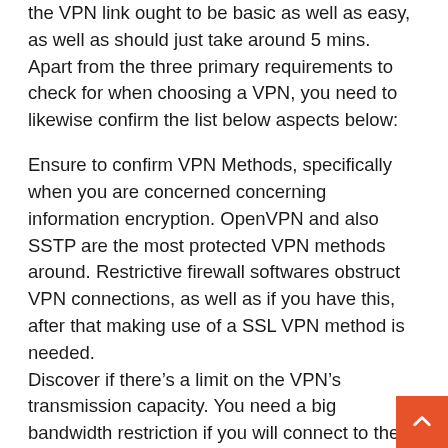the VPN link ought to be basic as well as easy, as well as should just take around 5 mins. Apart from the three primary requirements to check for when choosing a VPN, you need to likewise confirm the list below aspects below:
Ensure to confirm VPN Methods, specifically when you are concerned concerning information encryption. OpenVPN and also SSTP are the most protected VPN methods around. Restrictive firewall softwares obstruct VPN connections, as well as if you have this, after that making use of a SSL VPN method is needed.
Discover if there's a limit on the VPN's transmission capacity. You need a big bandwidth restriction if you will connect to the internet